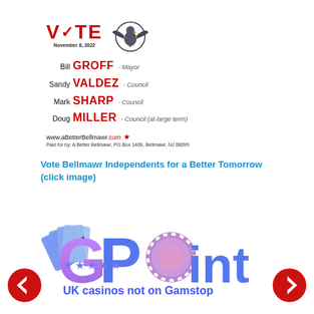[Figure (infographic): Vote November 8, 2022 campaign ad with eagle emblem, candidate names (Bill GROFF Mayor, Sandy VALDEZ Council, Mark SHARP Council, Doug MILLER Council at-large), website www.aBetterBellmawr.com, paid for by A Better Bellmawr]
Vote Bellmawr Independents for a Better Tomorrow (click image)
[Figure (logo): GPoint casino logo with playing cards and poker chip graphic, blue and purple colors, 5 stars, text UK casinos not on Gamstop]
[Figure (infographic): Left navigation arrow (red circle with white left arrow)]
[Figure (infographic): Right navigation arrow (red circle with white right arrow)]